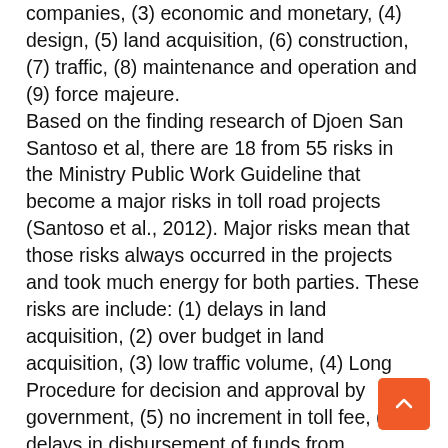companies, (3) economic and monetary, (4) design, (5) land acquisition, (6) construction, (7) traffic, (8) maintenance and operation and (9) force majeure. Based on the finding research of Djoen San Santoso et al, there are 18 from 55 risks in the Ministry Public Work Guideline that become a major risks in toll road projects (Santoso et al., 2012). Major risks mean that those risks always occurred in the projects and took much energy for both parties. These risks are include: (1) delays in land acquisition, (2) over budget in land acquisition, (3) low traffic volume, (4) Long Procedure for decision and approval by government, (5) no increment in toll fee, (6) delays in disbursement of funds from investors